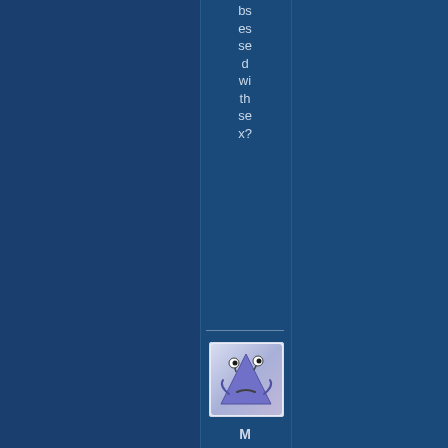bs es se d wi th se x?
[Figure (illustration): Avatar icon of a cartoon triangle-shaped character with googly eyes and a sad/neutral expression, on a blue-to-white gradient background, in a white-bordered box]
Mr Ed
January 26, 2017 at